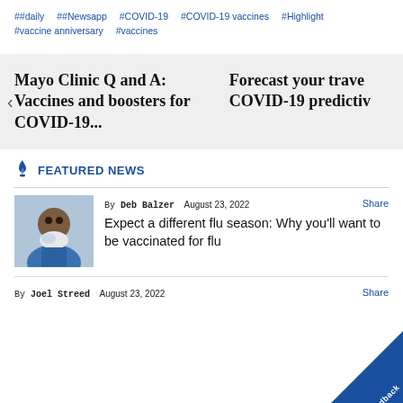##daily  ##Newsapp  #COVID-19  #COVID-19 vaccines  #Highlight
#vaccine anniversary  #vaccines
Mayo Clinic Q and A: Vaccines and boosters for COVID-19...
Forecast your trave COVID-19 predictiv
FEATURED NEWS
By Deb Balzer   August 23, 2022   Share
Expect a different flu season: Why you'll want to be vaccinated for flu
By Joel Streed   August 23, 2022   Share